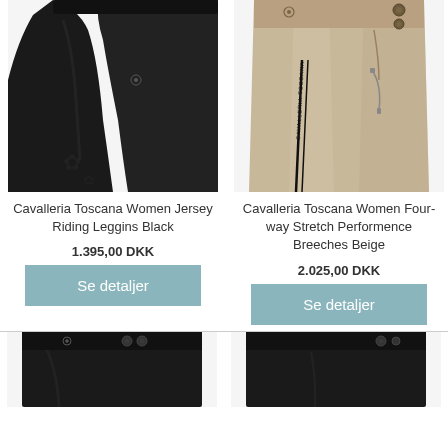[Figure (photo): Black equestrian riding leggings product photo]
[Figure (photo): Beige equestrian breeches product photo]
Cavalleria Toscana Women Jersey Riding Leggins Black
Cavalleria Toscana Women Four-way Stretch Performence Breeches Beige
1.395,00 DKK
2.025,00 DKK
Se detaljer
Se detaljer
[Figure (photo): Black equestrian pants product photo (bottom left, partially visible)]
[Figure (photo): Black equestrian pants product photo (bottom right, partially visible)]